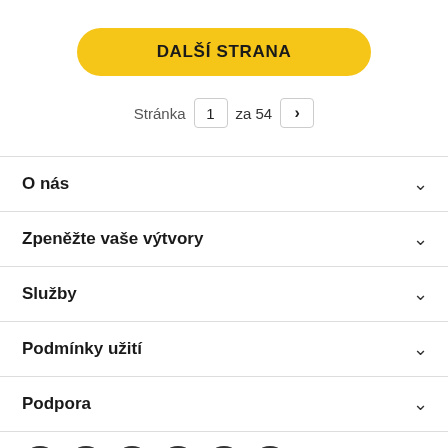DALŠÍ STRANA
Stránka 1 za 54 >
O nás
Zpeněžte vaše výtvory
Služby
Podmínky užití
Podpora
[Figure (other): Row of social media icon circles at bottom]